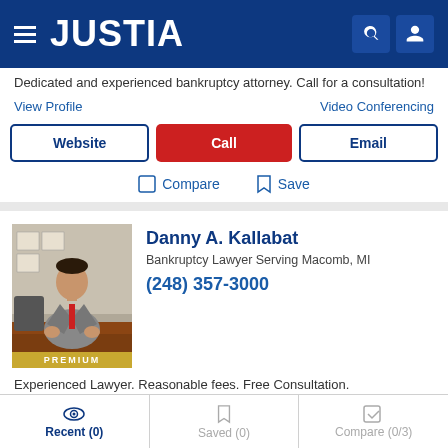[Figure (logo): Justia website header with hamburger menu, JUSTIA logo in white on dark blue background, and search/user icons]
Dedicated and experienced bankruptcy attorney. Call for a consultation!
View Profile    Video Conferencing
Website   Call   Email
Compare   Save
Danny A. Kallabat
Bankruptcy Lawyer Serving Macomb, MI
(248) 357-3000
[Figure (photo): Professional photo of Danny A. Kallabat in a grey suit seated at a desk with diplomas on the wall behind him, with a PREMIUM badge at the bottom]
Experienced Lawyer. Reasonable fees. Free Consultation.
Recent (0)   Saved (0)   Compare (0/3)